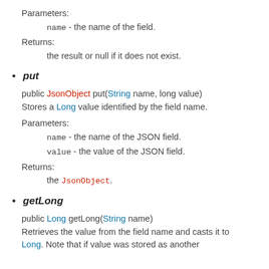Parameters:
name - the name of the field.
Returns:
the result or null if it does not exist.
put
public JsonObject put(String name, long value)
Stores a Long value identified by the field name.
Parameters:
name - the name of the JSON field.
value - the value of the JSON field.
Returns:
the JsonObject.
getLong
public Long getLong(String name)
Retrieves the value from the field name and casts it to Long. Note that if value was stored as another